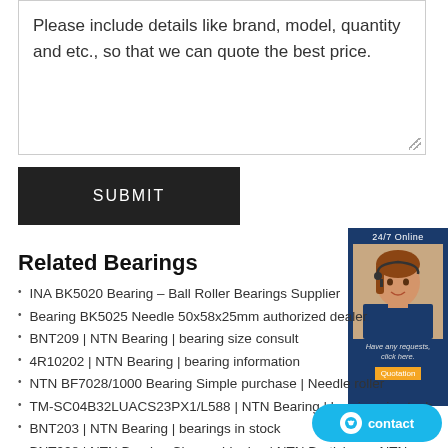Please include details like brand, model, quantity and etc., so that we can quote the best price.
SUBMIT
Related Bearings
INA BK5020 Bearing – Ball Roller Bearings Supplier
Bearing BK5025 Needle 50x58x25mm authorized dealer
BNT209 | NTN Bearing | bearing size consult
4R10202 | NTN Bearing | bearing information
NTN BF7028/1000 Bearing Simple purchase | Needle roller
TM-SC04B32LUACS23PX1/L588 | NTN Bearing | bearings in stock
BNT203 | NTN Bearing | bearings in stock
BNT008 | NTN Bearing Cheap shipping | NTN Bratislava - NTN
NTN BNT200 bearing Cheap shipping Quality BNT200
T-EE640193D/640260/640261DG2 | NTN Bearing | bearing cheap
CRO-4022LL | NTN Bearing | bearing price size
BF5023/1000 | NTN Bearing | bearing high disco...
NTN BNT006/GNP2 MAIN SPINDLE BEARING FACTORY ! |
[Figure (photo): Customer support agent with headset, 24/7 Online badge and Quotation button]